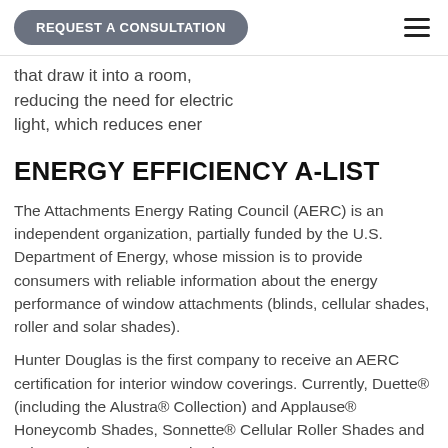REQUEST A CONSULTATION
that draw it into a room, reducing the need for electric light, which reduces ener
ENERGY EFFICIENCY A-LIST
The Attachments Energy Rating Council (AERC) is an independent organization, partially funded by the U.S. Department of Energy, whose mission is to provide consumers with reliable information about the energy performance of window attachments (blinds, cellular shades, roller and solar shades).
Hunter Douglas is the first company to receive an AERC certification for interior window coverings. Currently, Duette® (including the Alustra® Collection) and Applause® Honeycomb Shades, Sonnette® Cellular Roller Shades and select Designer Screen Shades are AERC